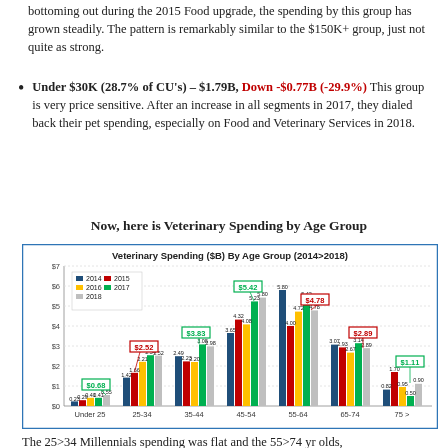bottoming out during the 2015 Food upgrade, the spending by this group has grown steadily. The pattern is remarkably similar to the $150K+ group, just not quite as strong.
Under $30K (28.7% of CU's) – $1.79B, Down -$0.77B (-29.9%) This group is very price sensitive. After an increase in all segments in 2017, they dialed back their pet spending, especially on Food and Veterinary Services in 2018.
Now, here is Veterinary Spending by Age Group
[Figure (grouped-bar-chart): Veterinary Spending ($B) By Age Group (2014>2018)]
The 25>34 Millennials spending was flat and the 55>74 yr olds,